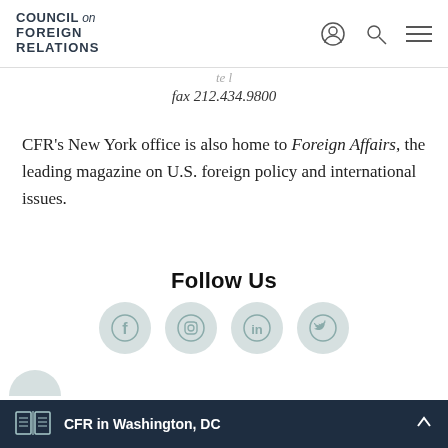COUNCIL on FOREIGN RELATIONS
fax 212.434.9800
CFR's New York office is also home to Foreign Affairs, the leading magazine on U.S. foreign policy and international issues.
Follow Us
[Figure (infographic): Social media icons: Facebook, Instagram, LinkedIn, Twitter circles in light teal/grey, plus a partial circle below]
CFR in Washington, DC